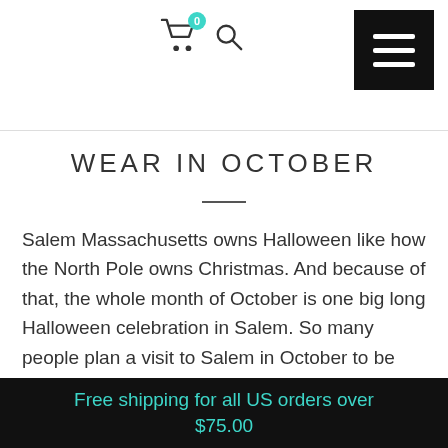Cart icon with badge 0, search icon, hamburger menu button
WEAR IN OCTOBER
Salem Massachusetts owns Halloween like how the North Pole owns Christmas. And because of that, the whole month of October is one big long Halloween celebration in Salem. So many people plan a visit to Salem in October to be part of the fun, and the magic.
So how do you decide what to wear in October in Salem? We have a few suggested Salem outfit ideas
Free shipping for all US orders over $75.00